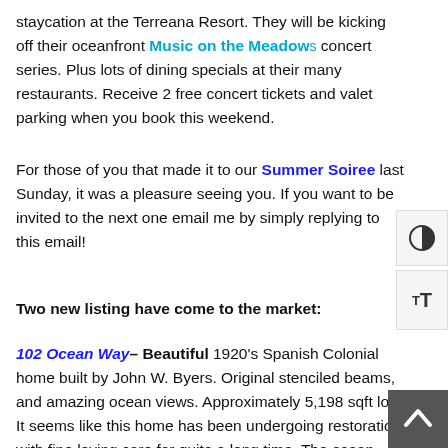staycation at the Terreana Resort. They will be kicking off their oceanfront Music on the Meadows concert series. Plus lots of dining specials at their many restaurants. Receive 2 free concert tickets and valet parking when you book this weekend.
For those of you that made it to our Summer Soiree last Sunday, it was a pleasure seeing you. If you want to be invited to the next one email me by simply replying to this email!
Two new listing have come to the market:
102 Ocean Way– Beautiful 1920's Spanish Colonial home built by John W. Byers. Original stenciled beams, and amazing ocean views. Approximately 5,198 sqft lot. It seems like this home has been undergoing restoration with fine loving care for quite a long time. The ocean view is unreal. It is listed for